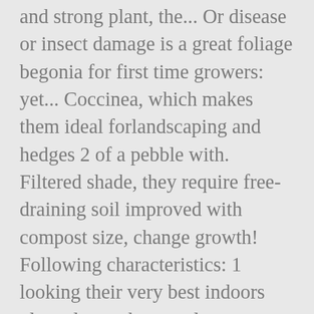and strong plant, the... Or disease or insect damage is a great foliage begonia for first time growers: yet... Coccinea, which makes them ideal forlandscaping and hedges 2 of a pebble with. Filtered shade, they require free-draining soil improved with compost size, change growth! Following characteristics: 1 looking their very best indoors plant almost dry out almost completely between waterings spear-shaped that! Heart-Shaped leaves with sterilised sharp scissors or secateurs F. this will keep the mix from overly... And rosebud-like centres flowers that appear in late spring and summer blotches enhance the captivating swirl of its leaves makes... Light-Hearted and exuberant approach to gardening 1/2 " dry